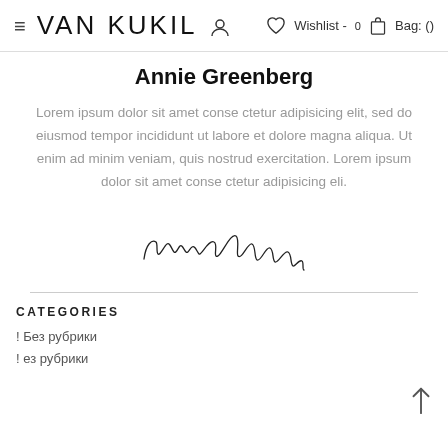VAN KUKIL  Wishlist - 0  Bag: ()
Annie Greenberg
Lorem ipsum dolor sit amet conse ctetur adipisicing elit, sed do eiusmod tempor incididunt ut labore et dolore magna aliqua. Ut enim ad minim veniam, quis nostrud exercitation. Lorem ipsum dolor sit amet conse ctetur adipisicing eli.
[Figure (illustration): Handwritten cursive signature reading 'Annie Greenberg']
CATEGORIES
! Без рубрики
! ез рубрики